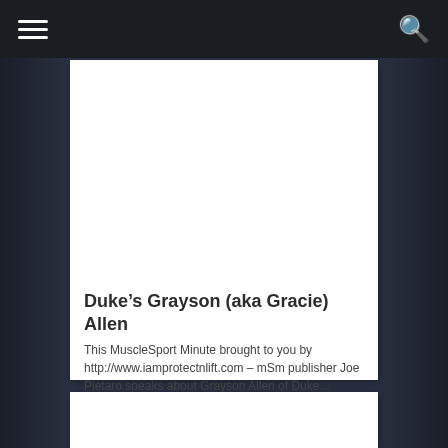[Figure (photo): White card with blank image placeholder area at top]
Duke’s Grayson (aka Gracie) Allen
This MuscleSport Minute brought to you by http://www.iamprotectnlift.com – mSm publisher Joe Pietaro speaks about Grayson Allen of Duke...
[Figure (photo): Partially visible second white card at bottom]